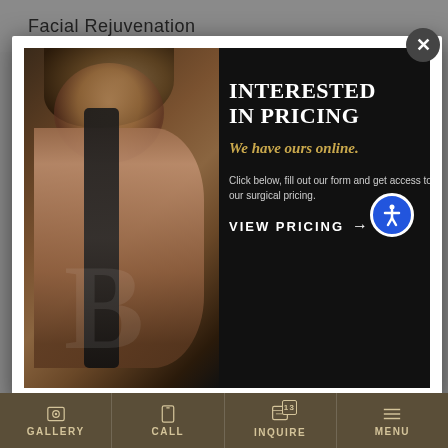Facial Rejuvenation
[Figure (photo): Modal popup overlay on a medical/cosmetic surgery website showing a woman's back in a black dress on a dark background, with text 'INTERESTED IN PRICING We have ours online. Click below, fill out our form and get access to our surgical pricing. VIEW PRICING →' and an accessibility icon. Includes a close (X) button at top right.]
INTERESTED IN PRICING
We have ours online.
Click below, fill out our form and get access to our surgical pricing.
VIEW PRICING →
GALLERY   CALL   INQUIRE   MENU